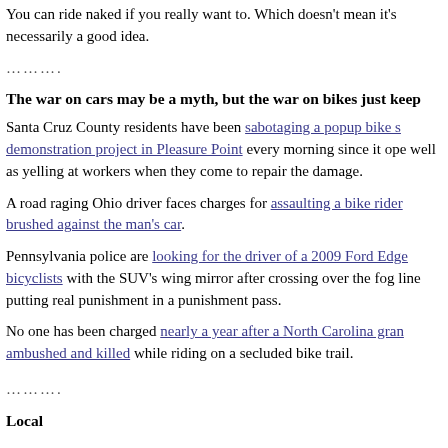You can ride naked if you really want to. Which doesn't mean it's necessarily a good idea.
………..
The war on cars may be a myth, but the war on bikes just keeps going.
Santa Cruz County residents have been sabotaging a popup bike share demonstration project in Pleasure Point every morning since it opened, as well as yelling at workers when they come to repair the damage.
A road raging Ohio driver faces charges for assaulting a bike rider who brushed against the man's car.
Pennsylvania police are looking for the driver of a 2009 Ford Edge who hit bicyclists with the SUV's wing mirror after crossing over the fog line, putting real punishment in a punishment pass.
No one has been charged nearly a year after a North Carolina gran was ambushed and killed while riding on a secluded bike trail.
………..
Local